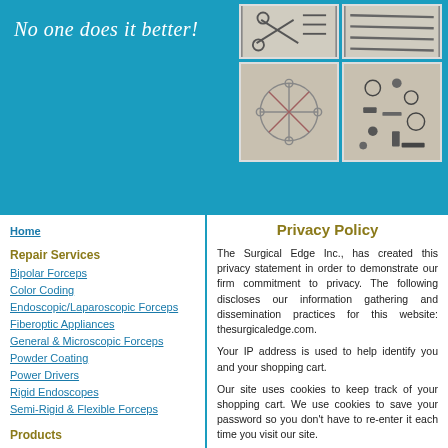No one does it better!
[Figure (photo): Four images of surgical instruments arranged in a 2x2 grid in the header]
Home
Repair Services
Bipolar Forceps
Color Coding
Endoscopic/Laparoscopic Forceps
Fiberoptic Appliances
General & Microscopic Forceps
Powder Coating
Power Drivers
Rigid Endoscopes
Semi-Rigid & Flexible Forceps
Products
General Instrumentation
Cervical Biopsy Forceps
Cholangiogram Forceps  *NEW*
Electrosurgical Cables
Laryngeal and Bronchial Forceps
Privacy Policy
The Surgical Edge Inc., has created this privacy statement in order to demonstrate our firm commitment to privacy. The following discloses our information gathering and dissemination practices for this website: thesurgicaledge.com.
Your IP address is used to help identify you and your shopping cart.
Our site uses cookies to keep track of your shopping cart. We use cookies to save your password so you don't have to re-enter it each time you visit our site.
Our site's registration form requires users to give us contact information (like their name and email address), unique identifiers (like their social security